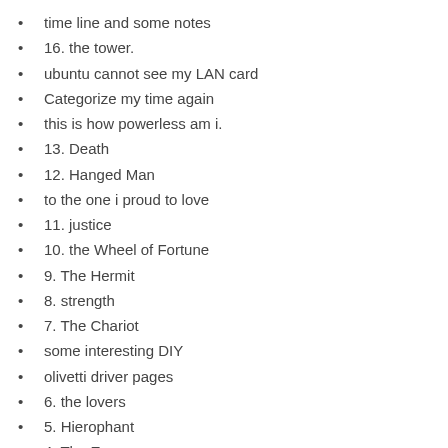time line and some notes
16. the tower.
ubuntu cannot see my LAN card
Categorize my time again
this is how powerless am i.
13. Death
12. Hanged Man
to the one i proud to love
11. justice
10. the Wheel of Fortune
9. The Hermit
8. strength
7. The Chariot
some interesting DIY
olivetti driver pages
6. the lovers
5. Hierophant
4. The Emperor